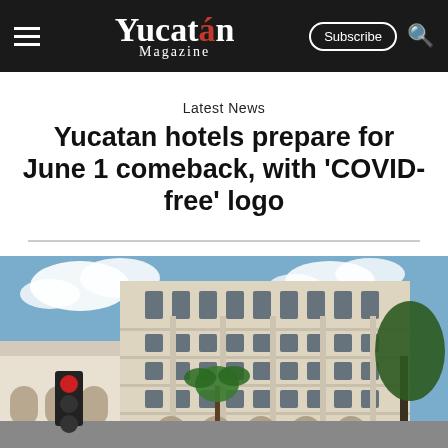Yucatán Magazine | Subscribe
Latest News
Yucatan hotels prepare for June 1 comeback, with 'COVID-free' logo
[Figure (photo): Exterior photograph of a large multi-story beige/cream colonial-style hotel building with arched windows and balconies, palm trees in front, blue sky with clouds in background, taken from street level looking up.]